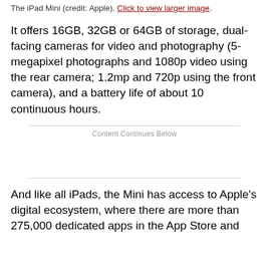The iPad Mini (credit: Apple). Click to view larger image.
It offers 16GB, 32GB or 64GB of storage, dual-facing cameras for video and photography (5-megapixel photographs and 1080p video using the rear camera; 1.2mp and 720p using the front camera), and a battery life of about 10 continuous hours.
Content Continues Below
And like all iPads, the Mini has access to Apple's digital ecosystem, where there are more than 275,000 dedicated apps in the App Store and